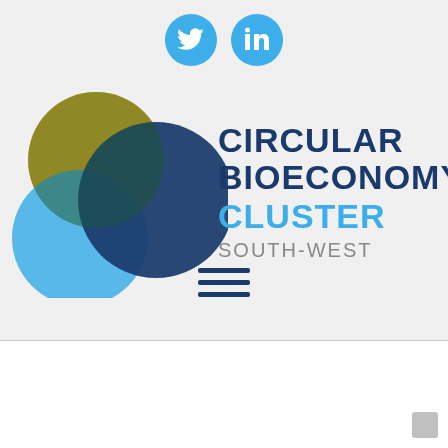[Figure (logo): Social media icons: Twitter (blue circle with bird) and LinkedIn (blue circle with 'in')]
[Figure (logo): Circular Bioeconomy Cluster South-West logo: three overlapping circles (gold, teal/dark, light blue) forming a Venn diagram, with text 'CIRCULAR BIOECONOMY CLUSTER SOUTH-WEST' to the right]
[Figure (illustration): Hamburger menu icon (three horizontal dark blue lines)]